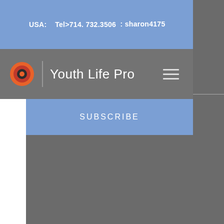USA: ㅤㅤ Tel>714. 732.3506 ㅤㅤ: sharon4175
Youth Life Pro
SUBSCRIBE